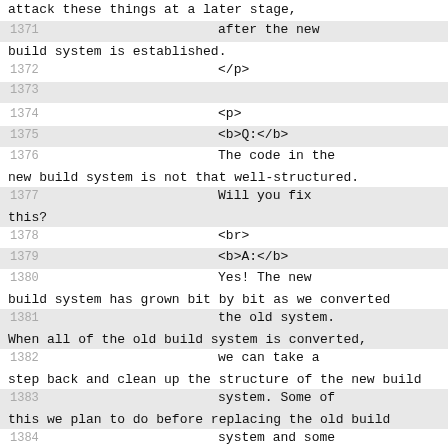attack these things at a later stage,
1371                          after the new build system is established.
1372                          </p>
1373
1374                          <p>
1375                          <b>Q:</b>
1376                          The code in the new build system is not that well-structured.
1377                          Will you fix this?
1378                          <br>
1379                          <b>A:</b>
1380                          Yes! The new build system has grown bit by bit as we converted
1381                          the old system. When all of the old build system is converted,
1382                          we can take a step back and clean up the structure of the new build
1383                          system. Some of this we plan to do before replacing the old build
1384                          system and some will need to wait until after.